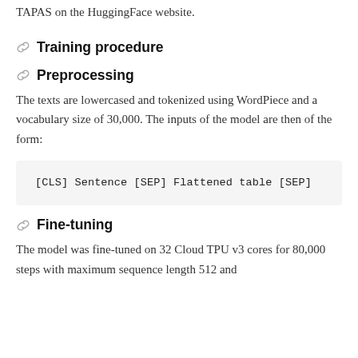TAPAS on the HuggingFace website.
Training procedure
Preprocessing
The texts are lowercased and tokenized using WordPiece and a vocabulary size of 30,000. The inputs of the model are then of the form:
Fine-tuning
The model was fine-tuned on 32 Cloud TPU v3 cores for 80,000 steps with maximum sequence length 512 and